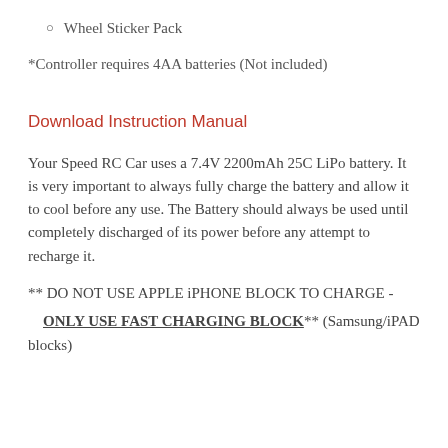Wheel Sticker Pack
*Controller requires 4AA batteries (Not included)
Download Instruction Manual
Your Speed RC Car uses a 7.4V 2200mAh 25C LiPo battery. It is very important to always fully charge the battery and allow it to cool before any use. The Battery should always be used until completely discharged of its power before any attempt to recharge it.
** DO NOT USE APPLE iPHONE BLOCK TO CHARGE -
ONLY USE FAST CHARGING BLOCK** (Samsung/iPAD blocks)